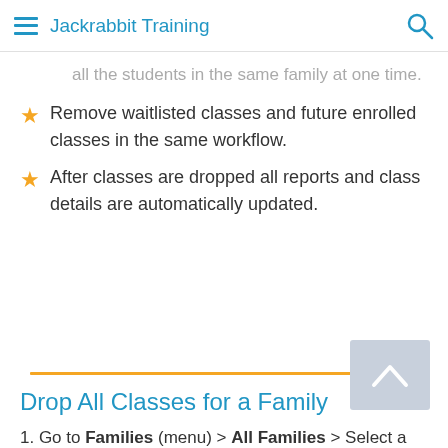Jackrabbit Training
all the students in the same family at one time.
Remove waitlisted classes and future enrolled classes in the same workflow.
After classes are dropped all reports and class details are automatically updated.
[Figure (other): Gold horizontal divider line with light blue/gray scroll-to-top button containing an upward chevron arrow]
Drop All Classes for a Family
1. Go to Families (menu) > All Families > Select a